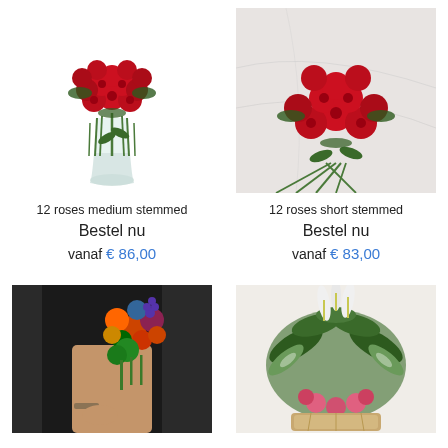[Figure (photo): Bouquet of red roses in a glass vase, white background]
[Figure (photo): 12 red roses short stemmed on marble surface]
12 roses medium stemmed
Bestel nu
vanaf € 86,00
12 roses short stemmed
Bestel nu
vanaf € 83,00
[Figure (photo): Florist arranging colorful flower bouquet]
[Figure (photo): Green plant arrangement with white flowers and pink blooms]